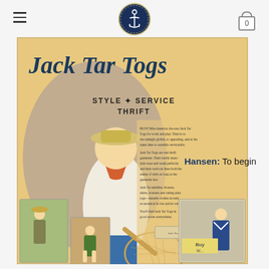Navigation header with hamburger menu, anchor logo, and cart icon
[Figure (illustration): Vintage advertisement for Jack Tar Togs showing a woman in sailor-style clothing holding a tennis racket, with smaller inset images of women and children in similar clothing. Text reads: Jack Tar Togs, Style + Service Thrift. Busy Miss America chooses Jack Tar Togs for work and play. They're so becomingly girlish, so appealing, and at the same time so sensibly serviceable.]
Hansen: To begin